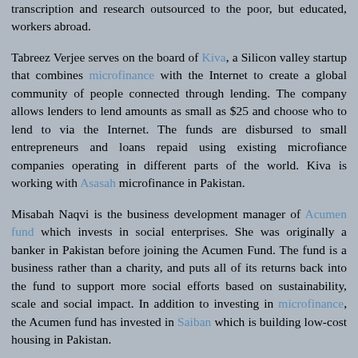transcription and research outsourced to the poor, but educated, workers abroad.
Tabreez Verjee serves on the board of Kiva, a Silicon valley startup that combines microfinance with the Internet to create a global community of people connected through lending. The company allows lenders to lend amounts as small as $25 and choose who to lend to via the Internet. The funds are disbursed to small entrepreneurs and loans repaid using existing microfiance companies operating in different parts of the world. Kiva is working with Asasah microfinance in Pakistan.
Misabah Naqvi is the business development manager of Acumen fund which invests in social enterprises. She was originally a banker in Pakistan before joining the Acumen Fund. The fund is a business rather than a charity, and puts all of its returns back into the fund to support more social efforts based on sustainability, scale and social impact. In addition to investing in microfinance, the Acumen fund has invested in Saiban which is building low-cost housing in Pakistan.
Reply